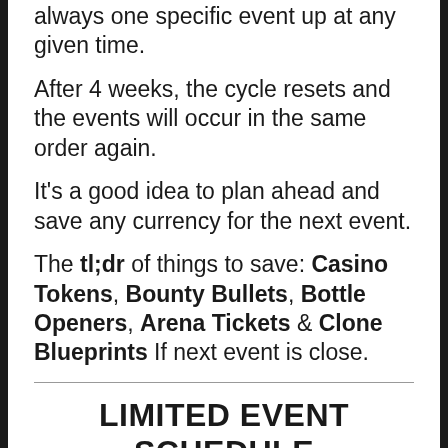always one specific event up at any given time.
After 4 weeks, the cycle resets and the events will occur in the same order again.
It's a good idea to plan ahead and save any currency for the next event.
The tl;dr of things to save: Casino Tokens, Bounty Bullets, Bottle Openers, Arena Tickets & Clone Blueprints If next event is close.
LIMITED EVENT SCHEDULE